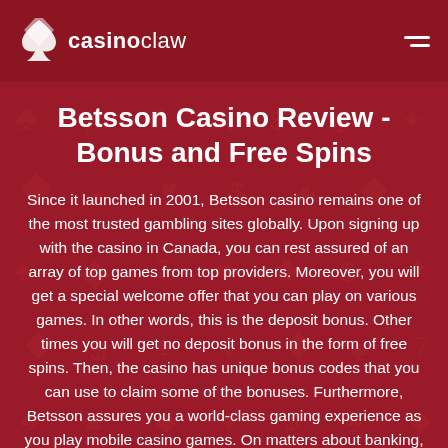casinoclaw
Betsson Casino Review - Bonus and Free Spins
Since it launched in 2001, Betsson casino remains one of the most trusted gambling sites globally. Upon signing up with the casino in Canada, you can rest assured of an array of top games from top providers. Moreover, you will get a special welcome offer that you can play on various games. In other words, this is the deposit bonus. Other times you will get no deposit bonus in the form of free spins. Then, the casino has unique bonus codes that you can use to claim some of the bonuses. Furthermore, Betsson assures you a world-class gaming experience as you play mobile casino games. On matters about banking, you will get